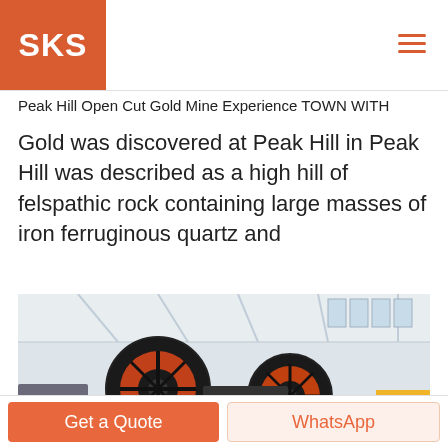SKS
Peak Hill Open Cut Gold Mine Experience TOWN WITH
Gold was discovered at Peak Hill in Peak Hill was described as a high hill of felspathic rock containing large masses of iron ferruginous quartz and
[Figure (photo): Industrial mining machinery (jaw crushers with large flywheels) inside a warehouse facility with large windows and steel roof structure.]
Get a Quote
WhatsApp